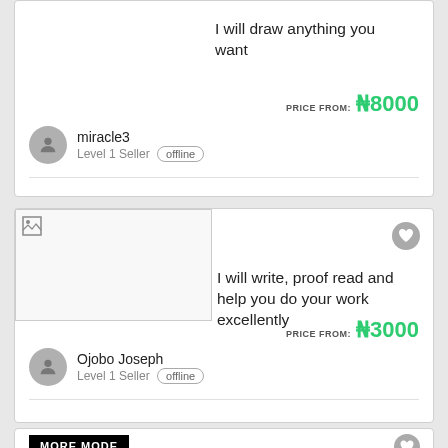I will draw anything you want
PRICE FROM: ₦8000
miracle3
Level 1 Seller  offline
[Figure (other): Broken image placeholder for second listing]
I will write, proof read and help you do your work excellently
PRICE FROM: ₦3000
Ojobo Joseph
Level 1 Seller  offline
[Figure (logo): MORE MORE logo in black and white at bottom card]